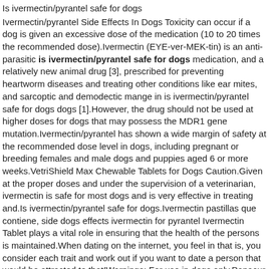Is ivermectin/pyrantel safe for dogs
Ivermectin/pyrantel Side Effects In Dogs Toxicity can occur if a dog is given an excessive dose of the medication (10 to 20 times the recommended dose).Ivermectin (EYE-ver-MEK-tin) is an anti-parasitic is ivermectin/pyrantel safe for dogs medication, and a relatively new animal drug [3], prescribed for preventing heartworm diseases and treating other conditions like ear mites, and sarcoptic and demodectic mange in is ivermectin/pyrantel safe for dogs dogs [1].However, the drug should not be used at higher doses for dogs that may possess the MDR1 gene mutation.Ivermectin/pyrantel has shown a wide margin of safety at the recommended dose level in dogs, including pregnant or breeding females and male dogs and puppies aged 6 or more weeks.VetriShield Max Chewable Tablets for Dogs Caution.Given at the proper doses and under the supervision of a veterinarian, ivermectin is safe for most dogs and is very effective in treating and.Is ivermectin/pyrantel safe for dogs.Ivermectin pastillas que contiene, side dogs effects ivermectin for pyrantel Ivermectin Tablet plays a vital role in ensuring that the health of the persons is maintained.When dating on the internet, you feel in that is, you consider each trait and work out if you want to date a person that would be attracted to that!Warnings: For use in dogs only.Panacur is generally considered a very safe medication and is one of the safest dewormers on the market.A mutation called ABCB1 or MDR1 sometimes occurs in